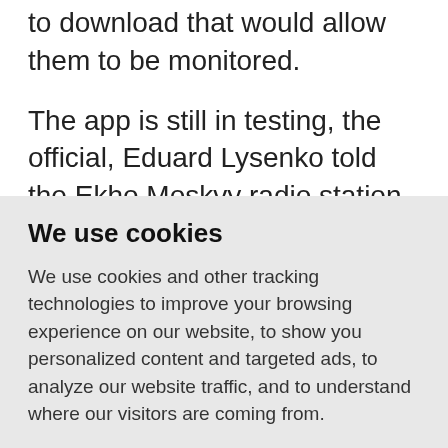to download that would allow them to be monitored.
The app is still in testing, the official, Eduard Lysenko told the Ekho Moskvy radio station.
Moscow is also preparing to roll out a city-wide QR-code system where each resident
We use cookies
We use cookies and other tracking technologies to improve your browsing experience on our website, to show you personalized content and targeted ads, to analyze our website traffic, and to understand where our visitors are coming from.